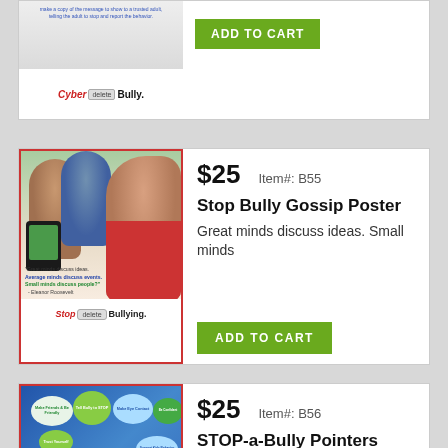[Figure (photo): Partial product card showing CyberBully poster with 'Cyber delete Bully' text and ADD TO CART button]
[Figure (photo): Stop Bully Gossip Poster - shows two girls whispering while a third child looks sad, with quote from Eleanor Roosevelt about great minds discussing ideas, and phone graphic. 'Stop delete Bullying' text at bottom.]
$25
Item#: B55
Stop Bully Gossip Poster
Great minds discuss ideas. Small minds
ADD TO CART
[Figure (photo): STOP-a-Bully Pointers Poster - shows illustrated fingers with smiley faces and speech bubbles with anti-bullying messages. '6 Pointers to Stop a Bully.' text at bottom.]
$25
Item#: B56
STOP-a-Bully Pointers Poster
Point out ways to stop school bullying.